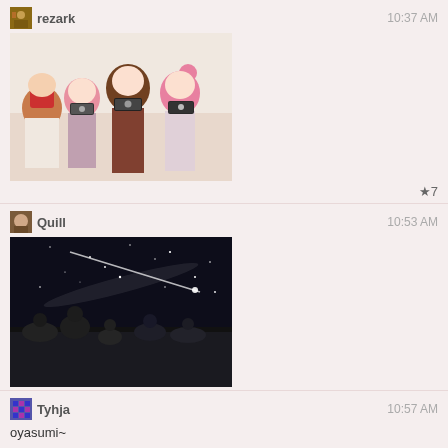rezark  10:37 AM
[Figure (illustration): Anime-style illustration of four girls holding cameras, with pink and brown hair, wearing school uniforms]
★7
Quill  10:53 AM
[Figure (photo): Black and white photo of a group of people lying/sitting on the ground looking up at a night sky with stars and a bright streak]
Tyhja  10:57 AM
oyasumi~
Quill  10:57 AM
it took me four Bookoff stores in Japan to find it, but I got 1~7
Toshinou Kyouko  10:58 AM
@Tyhja 'o